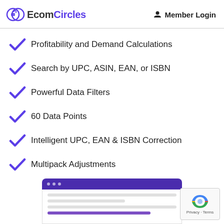EcomCircles  Member Login
Profitability and Demand Calculations
Search by UPC, ASIN, EAN, or ISBN
Powerful Data Filters
60 Data Points
Intelligent UPC, EAN & ISBN Correction
Multipack Adjustments
[Figure (screenshot): Browser window screenshot showing a purple title bar with three dots and content lines below, partial UI of EcomCircles tool]